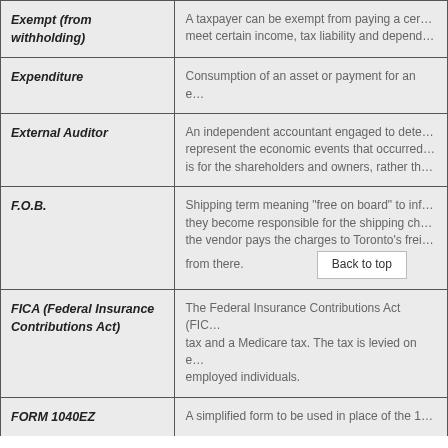| Term | Definition |
| --- | --- |
| Exempt (from withholding) | A taxpayer can be exempt from paying a certain tax if they meet certain income, tax liability and depend... |
| Expenditure | Consumption of an asset or payment for an e... |
| External Auditor | An independent accountant engaged to dete... represent the economic events that occurred... is for the shareholders and owners, rather th... |
| F.O.B. | Shipping term meaning "free on board" to inf... they become responsible for the shipping ch... the vendor pays the charges to Toronto's frei... from there. |
| FICA (Federal Insurance Contributions Act) | The Federal Insurance Contributions Act (FIC... tax and a Medicare tax. The tax is levied on e... employed individuals. |
| FORM 1040EZ | A simplified form to be used in place of the 1... |